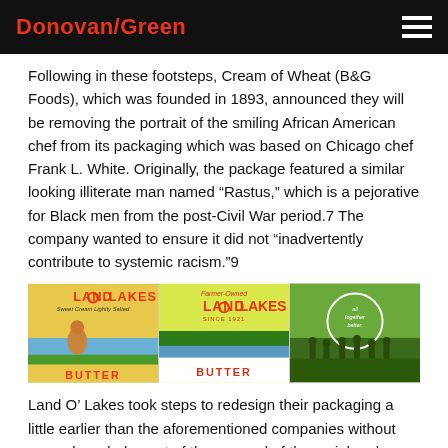Donovan/Green
Following in these footsteps, Cream of Wheat (B&G Foods), which was founded in 1893, announced they will be removing the portrait of the smiling African American chef from its packaging which was based on Chicago chef Frank L. White. Originally, the package featured a similar looking illiterate man named “Rastus,” which is a pejorative for Black men from the post-Civil War period.7 The company wanted to ensure it did not “inadvertently contribute to systemic racism.”9
[Figure (photo): Three Land O' Lakes butter packaging images side by side: original with Native American woman, redesigned modern packaging without the Native American, and a third showing a group of farmers.]
Land O’ Lakes took steps to redesign their packaging a little earlier than the aforementioned companies without any acknowledgment of the removal of the racial and misogynistic imagery.
For 100 years, the box featured a Native American woman known as Mia kneeling in a subservient-looking position in front of a lake and